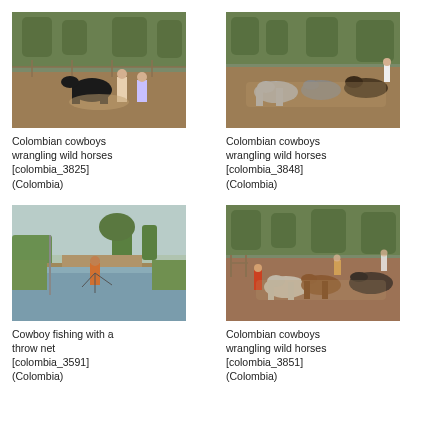[Figure (photo): Colombian cowboys wrangling wild horses in a dusty corral with trees in background]
Colombian cowboys wrangling wild horses [colombia_3825] (Colombia)
[Figure (photo): Colombian cowboys wrangling wild horses running in a dusty corral with trees in background]
Colombian cowboys wrangling wild horses [colombia_3848] (Colombia)
[Figure (photo): Cowboy fishing with a throw net in flooded grassy area with trees]
Cowboy fishing with a throw net [colombia_3591] (Colombia)
[Figure (photo): Colombian cowboys wrangling wild horses in a corral with trees in background]
Colombian cowboys wrangling wild horses [colombia_3851] (Colombia)